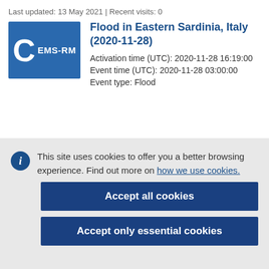Last updated: 13 May 2021 | Recent visits: 0
Flood in Eastern Sardinia, Italy (2020-11-28)
Activation time (UTC): 2020-11-28 16:19:00 Event time (UTC): 2020-11-28 03:00:00 Event type: Flood
This site uses cookies to offer you a better browsing experience. Find out more on how we use cookies.
Accept all cookies
Accept only essential cookies